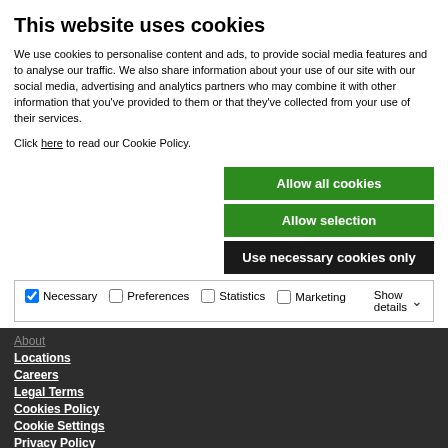This website uses cookies
We use cookies to personalise content and ads, to provide social media features and to analyse our traffic. We also share information about your use of our site with our social media, advertising and analytics partners who may combine it with other information that you've provided to them or that they've collected from your use of their services.
Click here to read our Cookie Policy.
Allow all cookies
Allow selection
Use necessary cookies only
Necessary  Preferences  Statistics  Marketing  Show details
About
Locations
Careers
Legal Terms
Cookies Policy
Cookie Settings
Privacy Policy